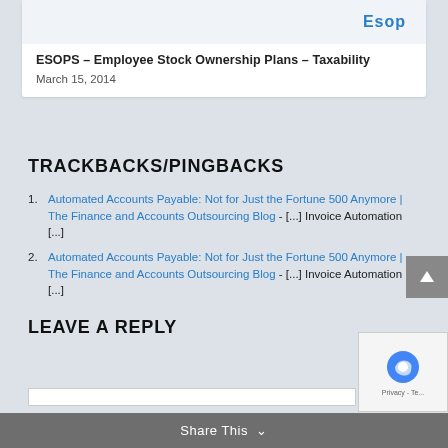[Figure (illustration): ESOP card with logo image showing 'Esop' text in blue]
ESOPS – Employee Stock Ownership Plans – Taxability
March 15, 2014
TRACKBACKS/PINGBACKS
Automated Accounts Payable: Not for Just the Fortune 500 Anymore | The Finance and Accounts Outsourcing Blog - [...] Invoice Automation [...]
Automated Accounts Payable: Not for Just the Fortune 500 Anymore | The Finance and Accounts Outsourcing Blog - [...] Invoice Automation [...]
LEAVE A REPLY
Share This
[Figure (other): reCAPTCHA privacy widget in bottom right corner]